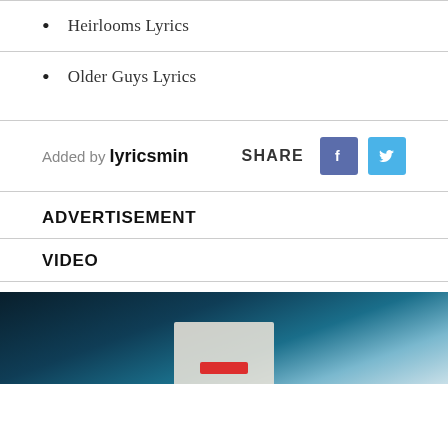Heirlooms Lyrics
Older Guys Lyrics
Added by lyricsmin
SHARE
ADVERTISEMENT
VIDEO
[Figure (photo): Video thumbnail showing papers and a red element over a dark teal/blue background]